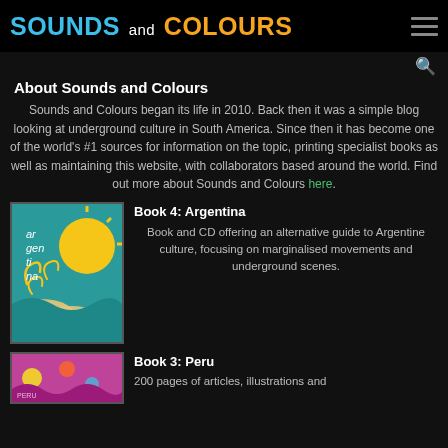SOUNDS and COLOURS
About Sounds and Colours
Sounds and Colours began its life in 2010. Back then it was a simple blog looking at underground culture in South America. Since then it has become one of the world's #1 sources for information on the topic, printing specialist books as well as maintaining this website, with collaborators based around the world. Find out more about Sounds and Colours here.
[Figure (illustration): Book cover for Argentina - teal background with sun, decorative waves and curls in yellow and cream, text 'argentina' in white]
Book 4: Argentina
Book and CD offering an alternative guide to Argentine culture, focusing on marginalised movements and underground scenes.
[Figure (illustration): Book cover for Peru - colorful pink/purple with illustrations]
Book 3: Peru
200 pages of articles, illustrations and